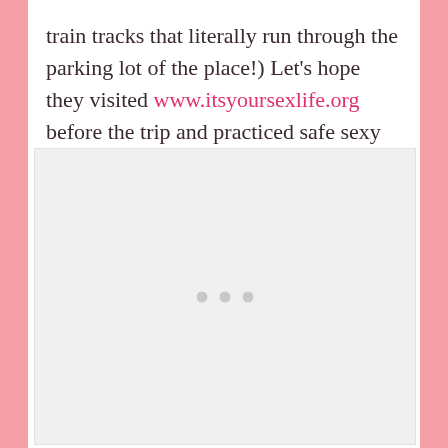train tracks that literally run through the parking lot of the place!) Let's hope they visited www.itsyoursexlife.org before the trip and practiced safe sexy time!
[Figure (other): A light gray placeholder image box with three small gray dots in the center, indicating a loading or unavailable image.]